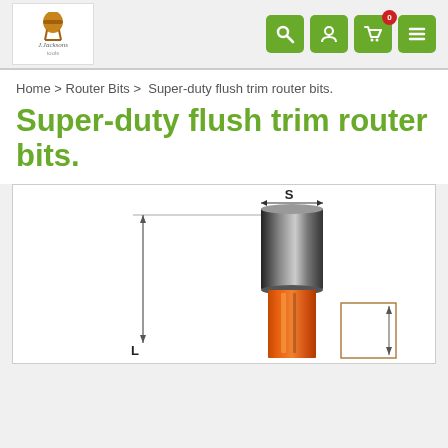J.Jackson logo with navigation icons: search, account, cart (0), menu
Home > Router Bits > Super-duty flush trim router bits.
Super-duty flush trim router bits.
[Figure (engineering-diagram): Technical diagram of a super-duty flush trim router bit showing dimensions S (shank diameter) and L (length). The bit has a black cylindrical shank at top and an orange cutting body below, with a small reference rectangle to the right showing a dimension arrow.]